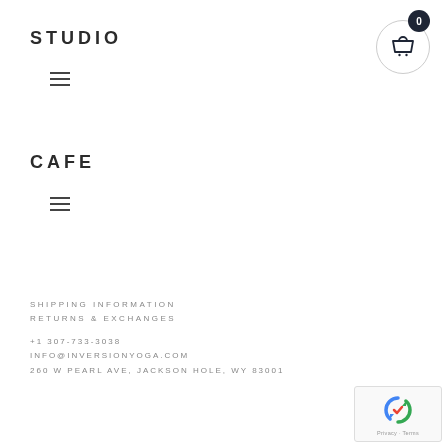STUDIO
[Figure (other): Hamburger menu icon (three horizontal lines)]
[Figure (other): Shopping cart icon with badge showing 0]
CAFE
[Figure (other): Hamburger menu icon (three horizontal lines)]
SHIPPING INFORMATION
RETURNS & EXCHANGES
+1 307-733-3038
INFO@INVERSIONYOGA.COM
260 W PEARL AVE, JACKSON HOLE, WY 83001
[Figure (other): Google reCAPTCHA widget with Privacy and Terms links]